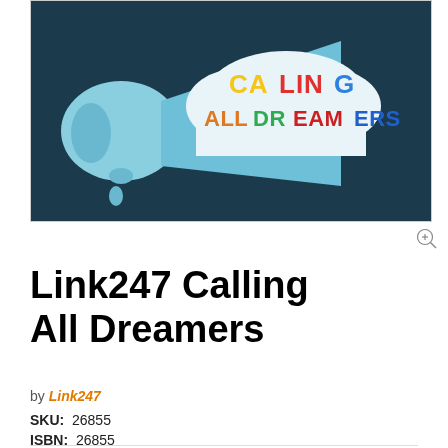[Figure (photo): Book cover image showing a megaphone with colorful letters spelling 'CALLING ALL DREAMERS' on a dark teal background with cloud shapes]
Link247 Calling All Dreamers
by Link247
SKU: 26855
ISBN: 26855